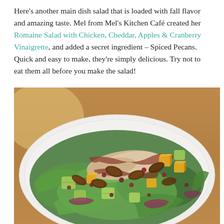Here's another main dish salad that is loaded with fall flavor and amazing taste. Mel from Mel's Kitchen Café created her Romaine Salad with Chicken, Cheddar, Apples & Cranberry Vinaigrette, and added a secret ingredient – Spiced Pecans. Quick and easy to make, they're simply delicious. Try not to eat them all before you make the salad!
[Figure (photo): A white plate filled with romaine salad topped with sliced chicken, diced yellow cheddar cheese, green apple chunks, red onion slices, spiced pecans, dried cranberries, and cranberry vinaigrette dressing drizzled over the top. The plate sits on a wooden surface.]